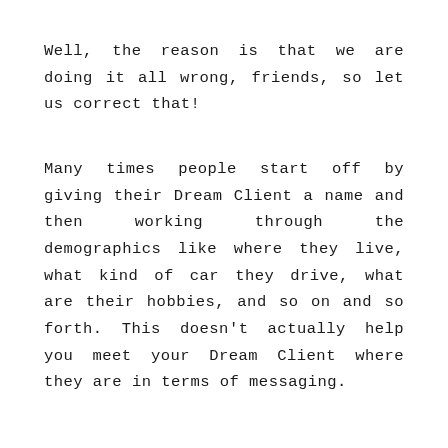Well, the reason is that we are doing it all wrong, friends, so let us correct that!
Many times people start off by giving their Dream Client a name and then working through the demographics like where they live, what kind of car they drive, what are their hobbies, and so on and so forth. This doesn't actually help you meet your Dream Client where they are in terms of messaging.